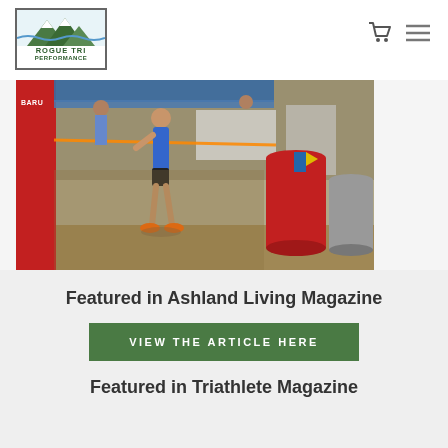[Figure (logo): Rogue Tri Performance logo — rectangular border with mountain/water graphic and text ROGUE TRI PERFORMANCE]
[Figure (photo): Triathlon transition area scene with athlete, red Subaru-branded barrier, red barrel, blue canopy, and dirt ground]
Featured in Ashland Living Magazine
VIEW THE ARTICLE HERE
Featured in Triathlete Magazine